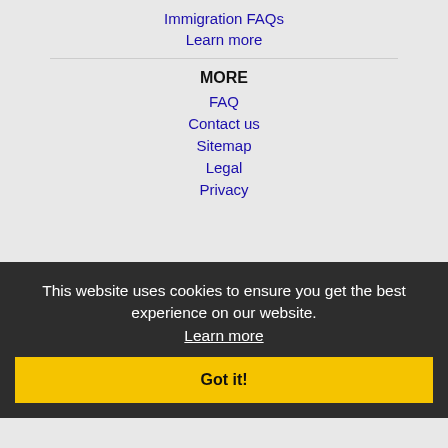Immigration FAQs
Learn more
MORE
FAQ
Contact us
Sitemap
Legal
Privacy
NEARBY CITIES
Avondale, AZ Jobs
Buckeye, AZ Jobs
Casa Grande, AZ Jobs
Chandler, AZ Jobs
Gilbert, AZ Jobs
Glendale, AZ Jobs
This website uses cookies to ensure you get the best experience on our website. Learn more
Got it!